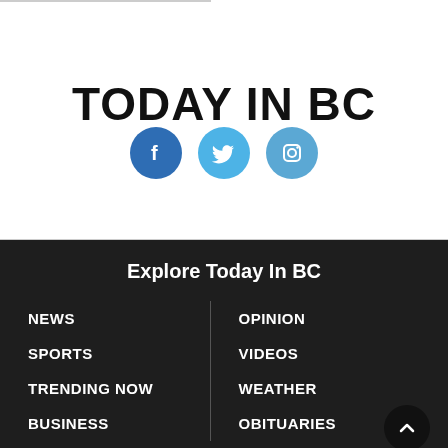TODAY IN BC
[Figure (logo): Social media icons: Facebook (dark blue circle), Twitter (light blue circle), Instagram (blue circle) with white icons]
Explore Today In BC
NEWS
SPORTS
TRENDING NOW
BUSINESS
OPINION
VIDEOS
WEATHER
OBITUARIES